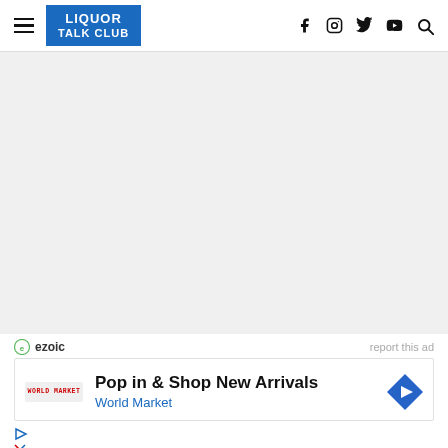LIQUOR TALK CLUB — navigation header with hamburger menu, logo, and social icons (Facebook, Instagram, Twitter, YouTube, Search)
[Figure (other): Large gray empty content area, likely a placeholder for an advertisement or image]
ezoic   report this ad
[Figure (infographic): Advertisement card: Pop in & Shop New Arrivals — World Market, with a blue diamond arrow icon and a World Market logo on the left]